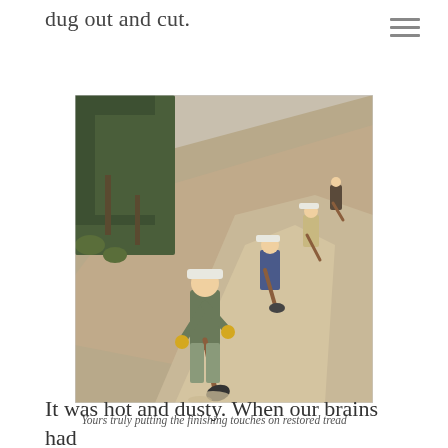dug out and cut.
[Figure (photo): Workers with hard hats and shovels doing trail restoration work on a steep dirt hillside with trees in the background. Several people are visible working along the trail tread.]
Yours truly putting the finishing touches on restored tread
It was hot and dusty. When our brains had